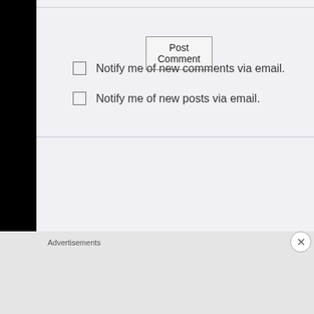Post Comment
Notify me of new comments via email.
Notify me of new posts via email.
Advertisements
[Figure (screenshot): DuckDuckGo advertisement banner: orange background with white bold text 'Search, browse, and email with more privacy.' and a white pill-shaped button with orange text 'All in One Free App' and a phone mockup showing the DuckDuckGo app logo with text 'DuckDuckGo.']